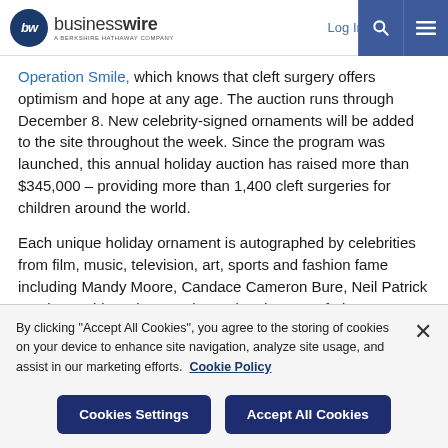businesswire — A Berkshire Hathaway Company | Log In | Sign Up
Operation Smile, which knows that cleft surgery offers optimism and hope at any age. The auction runs through December 8. New celebrity-signed ornaments will be added to the site throughout the week. Since the program was launched, this annual holiday auction has raised more than $345,000 – providing more than 1,400 cleft surgeries for children around the world.
Each unique holiday ornament is autographed by celebrities from film, music, television, art, sports and fashion fame including Mandy Moore, Candace Cameron Bure, Neil Patrick Harris, David Burtka, Brooke Burke, the cast of The Handmaid's Tale, Nathan Fillian, and
By clicking "Accept All Cookies", you agree to the storing of cookies on your device to enhance site navigation, analyze site usage, and assist in our marketing efforts. Cookie Policy
Cookies Settings | Accept All Cookies